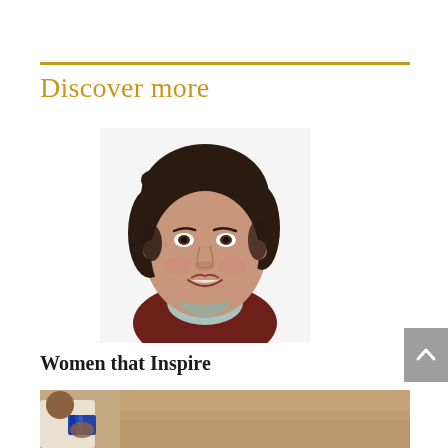Discover more
[Figure (photo): Headshot portrait of a woman with short dark hair, smiling, wearing a dark red/maroon top with a light scarf]
Women that Inspire
[Figure (photo): Partial view of a person near an earthen/mud wall, wearing a light shirt and blue patterned fabric]